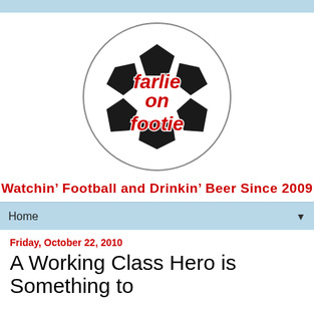[Figure (logo): Soccer ball logo with red italic text reading 'farlie on footie' overlaid on the ball]
Watchin' Football and Drinkin' Beer Since 2009
Home
Friday, October 22, 2010
A Working Class Hero is Something to